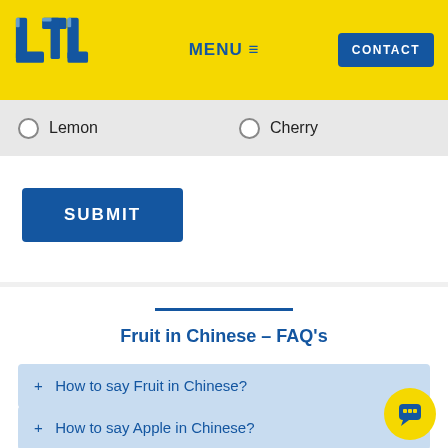LTL | MENU | CONTACT
Lemon
Cherry
SUBMIT
Fruit in Chinese – FAQ's
+ How to say Fruit in Chinese?
+ How to say Apple in Chinese?